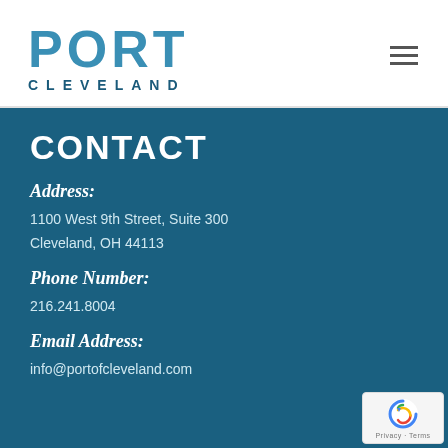[Figure (logo): Port Cleveland logo with PORT in large teal letters and CLEVELAND in smaller dark blue spaced letters below]
CONTACT
Address:
1100 West 9th Street, Suite 300
Cleveland, OH 44113
Phone Number:
216.241.8004
Email Address:
info@portofcleveland.com
[Figure (logo): reCAPTCHA badge with Google reCAPTCHA icon and Privacy - Terms text]